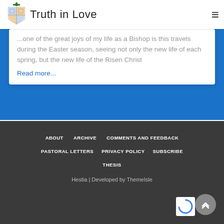Truth in Love
...one of the great joys of my life as a Bishop is this travels during the Easter season, seeing not only the new life of each spring, but the new life of the Risen Christ
Read more...
ABOUT  ARCHIVE  COMMENTS AND FEEDBACK  PASTORAL LETTERS  PRIVACY POLICY  SUBSCRIBE  THESIS  Hestia | Developed by ThemeIsle